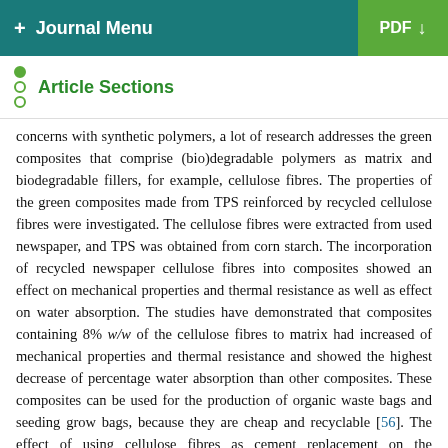+ Journal Menu | PDF
Article Sections
concerns with synthetic polymers, a lot of research addresses the green composites that comprise (bio)degradable polymers as matrix and biodegradable fillers, for example, cellulose fibres. The properties of the green composites made from TPS reinforced by recycled cellulose fibres were investigated. The cellulose fibres were extracted from used newspaper, and TPS was obtained from corn starch. The incorporation of recycled newspaper cellulose fibres into composites showed an effect on mechanical properties and thermal resistance as well as effect on water absorption. The studies have demonstrated that composites containing 8% w/w of the cellulose fibres to matrix had increased of mechanical properties and thermal resistance and showed the highest decrease of percentage water absorption than other composites. These composites can be used for the production of organic waste bags and seeding grow bags, because they are cheap and recyclable [56]. The effect of using cellulose fibres as cement replacement on the lightweight cement